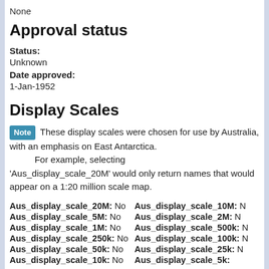None
Approval status
Status:
Unknown
Date approved:
1-Jan-1952
Display Scales
Note These display scales were chosen for use by Australia, with an emphasis on East Antarctica. For example, selecting 'Aus_display_scale_20M' would only return names that would appear on a 1:20 million scale map.
| Scale | Value | Scale | Value |
| --- | --- | --- | --- |
| Aus_display_scale_20M: | No | Aus_display_scale_10M: | N |
| Aus_display_scale_5M: | No | Aus_display_scale_2M: | N |
| Aus_display_scale_1M: | No | Aus_display_scale_500k: | N |
| Aus_display_scale_250k: | No | Aus_display_scale_100k: | N |
| Aus_display_scale_50k: | No | Aus_display_scale_25k: | N |
| Aus_display_scale_10k: | No | Aus_display_scale_5k: |  |